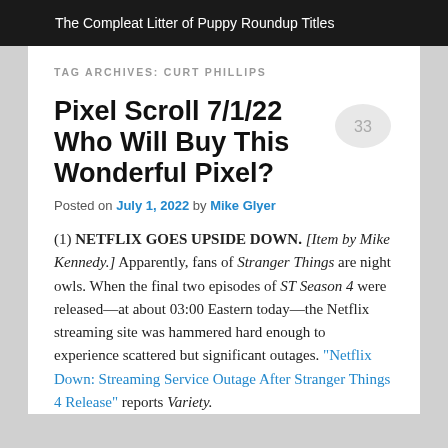The Compleat Litter of Puppy Roundup Titles
TAG ARCHIVES: CURT PHILLIPS
Pixel Scroll 7/1/22 Who Will Buy This Wonderful Pixel?
Posted on July 1, 2022 by Mike Glyer
(1) NETFLIX GOES UPSIDE DOWN. [Item by Mike Kennedy.] Apparently, fans of Stranger Things are night owls. When the final two episodes of ST Season 4 were released—at about 03:00 Eastern today—the Netflix streaming site was hammered hard enough to experience scattered but significant outages. “Netflix Down: Streaming Service Outage After Stranger Things 4 Release” reports Variety.